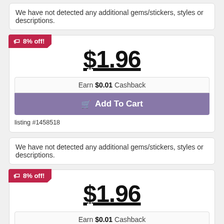We have not detected any additional gems/stickers, styles or descriptions.
8% off!
$1.96
Earn $0.01 Cashback
Add To Cart
listing #1458518
We have not detected any additional gems/stickers, styles or descriptions.
8% off!
$1.96
Earn $0.01 Cashback